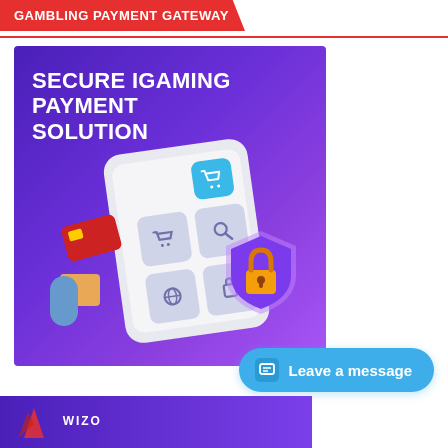GAMBLING PAYMENT GATEWAY
[Figure (illustration): Purple gradient background illustration showing a smartphone with app icons (shopping cart, search, globe, shopping bag), a security shield with padlock in purple and gold, a floating credit card, a package box, and bold white text reading SECURE IGAMING PAYMENT SOLUTION]
Leave a message
[Figure (illustration): Bottom partial banner with purple gradient background and logo/branding strip]